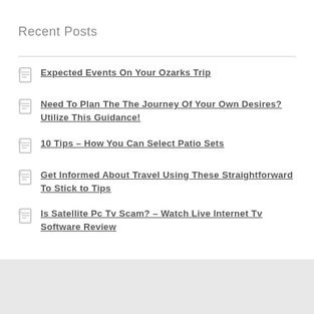Recent Posts
Expected Events On Your Ozarks Trip
Need To Plan The The Journey Of Your Own Desires? Utilize This Guidance!
10 Tips – How You Can Select Patio Sets
Get Informed About Travel Using These Straightforward To Stick to Tips
Is Satellite Pc Tv Scam? – Watch Live Internet Tv Software Review